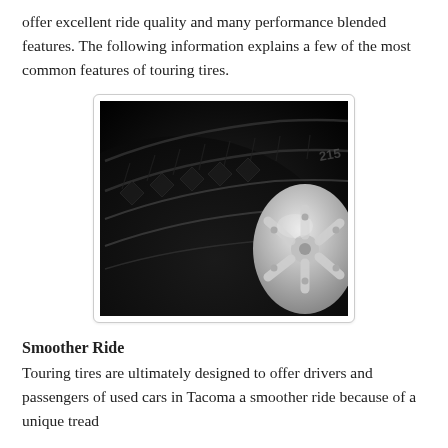offer excellent ride quality and many performance blended features. The following information explains a few of the most common features of touring tires.
[Figure (photo): Close-up black and white photograph of a touring tire showing the tread pattern and a silver alloy wheel rim.]
Smoother Ride
Touring tires are ultimately designed to offer drivers and passengers of used cars in Tacoma a smoother ride because of a unique tread